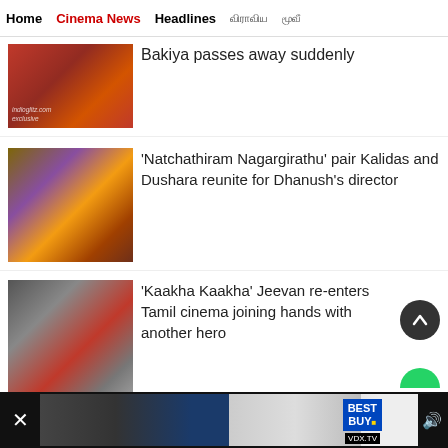Home | Cinema News | Headlines | [Tamil text] | [Tamil text]
[Figure (photo): Photo of a man in red shirt, indioglitz.com exclusive watermark]
Bakiya passes away suddenly
[Figure (photo): Photo of two actors - male and female smiling together]
'Natchathiram Nagargirathu' pair Kalidas and Dushara reunite for Dhanush's director
[Figure (photo): Photo of a man with curly hair and sunglasses]
'Kaakha Kaakha' Jeevan re-enters Tamil cinema joining hands with another hero
[Figure (screenshot): Advertisement banner - Best Buy ad with VDX.TV label]